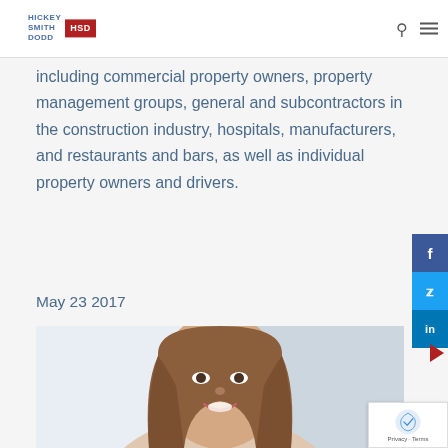Hickey Smith Dodd HSD
including commercial property owners, property management groups, general and subcontractors in the construction industry, hospitals, manufacturers, and restaurants and bars, as well as individual property owners and drivers.
May 23 2017
[Figure (photo): Professional headshot of a woman with shoulder-length brown hair, smiling, against a light background.]